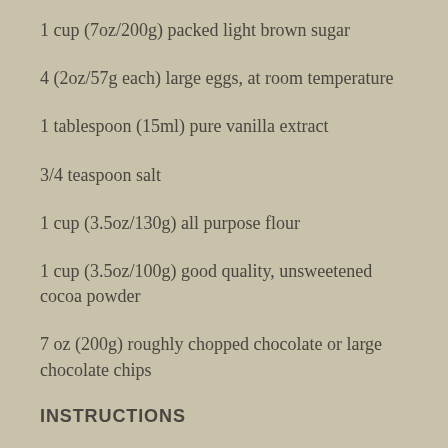1 cup (7oz/200g) packed light brown sugar
4 (2oz/57g each) large eggs, at room temperature
1 tablespoon (15ml) pure vanilla extract
3/4 teaspoon salt
1 cup (3.5oz/130g) all purpose flour
1 cup (3.5oz/100g) good quality, unsweetened cocoa powder
7 oz (200g) roughly chopped chocolate or large chocolate chips
INSTRUCTIONS